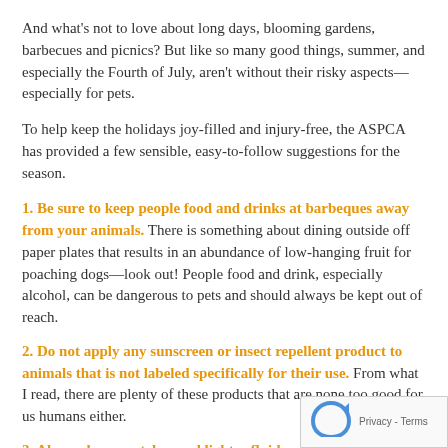And what's not to love about long days, blooming gardens, barbecues and picnics? But like so many good things, summer, and especially the Fourth of July, aren't without their risky aspects—especially for pets.
To help keep the holidays joy-filled and injury-free, the ASPCA has provided a few sensible, easy-to-follow suggestions for the season.
1. Be sure to keep people food and drinks at barbeques away from your animals. There is something about dining outside off paper plates that results in an abundance of low-hanging fruit for poaching dogs—look out! People food and drink, especially alcohol, can be dangerous to pets and should always be kept out of reach.
2. Do not apply any sunscreen or insect repellent product to animals that is not labeled specifically for their use. From what I read, there are plenty of these products that are none too good for us humans either.
3. Always keep matches and lighter fluid out of your pets' reach. Certain types of matches contain chlorates, which could potentially damage blood cells and result in difficulty breathing—or even